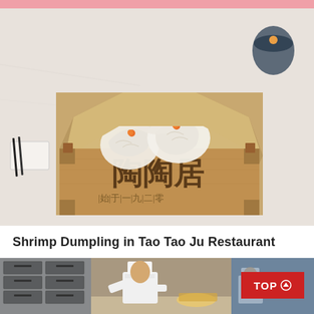[Figure (photo): A wooden octagonal steamer box branded with Chinese characters '陶陶居' containing translucent shrimp dumplings (har gow) topped with orange fish roe, placed on a white marble surface]
Shrimp Dumpling in Tao Tao Ju Restaurant
[Figure (photo): Kitchen scene with chefs in white uniforms and hats working at a counter, with industrial ovens stacked in the background and another chef visible in the background]
TOP